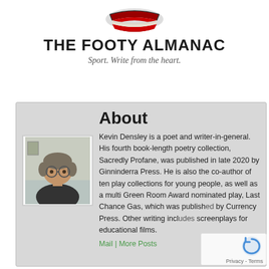[Figure (logo): The Footy Almanac logo: stylized open book with red and dark cover, viewed from above]
THE FOOTY ALMANAC
Sport. Write from the heart.
[Figure (photo): Headshot of Kevin Densley, a middle-aged man with glasses and grey-brown hair, wearing a dark shirt]
About
Kevin Densley is a poet and writer-in-general. His fourth book-length poetry collection, Sacredly Profane, was published in late 2020 by Ginninderra Press. He is also the co-author of ten play collections for young people, as well as a multi Green Room Award nominated play, Last Chance Gas, which was published by Currency Press. Other writing includes screenplays for educational films.
Mail | More Posts